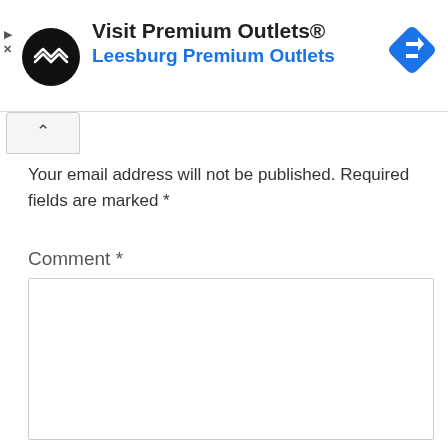[Figure (infographic): Advertisement banner for Premium Outlets featuring a black circular logo with double arrow symbol, text 'Visit Premium Outlets® Leesburg Premium Outlets', and a blue diamond navigation icon on the right. Small play and X icons on the left edge.]
Your email address will not be published. Required fields are marked *
Comment *